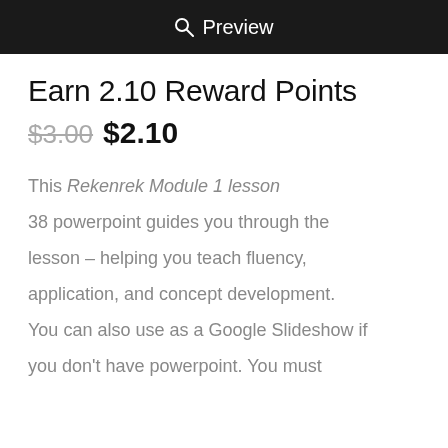Preview
Earn 2.10 Reward Points
$3.00 $2.10
This Rekenrek Module 1 lesson 38 powerpoint guides you through the lesson – helping you teach fluency, application, and concept development. You can also use as a Google Slideshow if you don't have powerpoint. You must